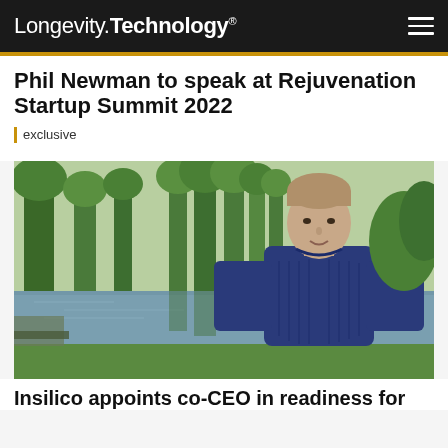Longevity.Technology®
Phil Newman to speak at Rejuvenation Startup Summit 2022
exclusive
[Figure (photo): A man in a navy blue sweater standing outdoors in a park with trees, grass, and a canal or pond in the background.]
Insilico appoints co-CEO in readiness for